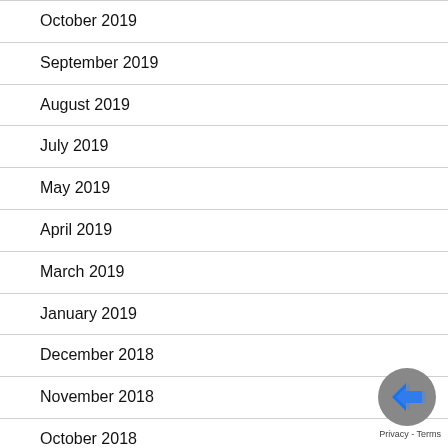October 2019
September 2019
August 2019
July 2019
May 2019
April 2019
March 2019
January 2019
December 2018
November 2018
October 2018